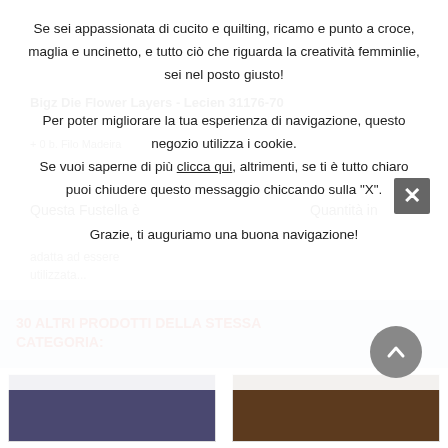Se sei appassionata di cucito e quilting, ricamo e punto a croce, maglia e uncinetto, e tutto ciò che riguarda la creatività femminlie, sei nel posto giusto!
Per poter migliorare la tua esperienza di navigazione, questo negozio utilizza i cookie.
Se vuoi saperne di più clicca qui, altrimenti, se ti è tutto chiaro puoi chiudere questo messaggio chiccando sulla "X".
Grazie, ti auguriamo una buona navigazione!
Bigz Die Flower Layers - Lecien 31176-70
Quantità in
Questa Fustella è adatta ad essere utilizzata...
2,10 €
20,00 €
Aggiungi al Carrello
30 ALTRI PRODOTTI DELLA STESSA CATEGORIA:
[Figure (photo): Blue/purple floral fabric texture thumbnail]
[Figure (photo): Brown floral fabric texture thumbnail]